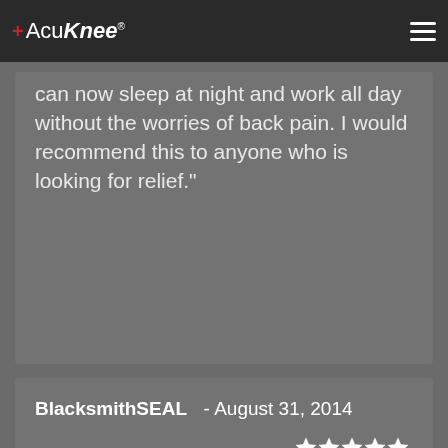+AcuKnee
can now sleep at night and work all day without the worries of back pain. I would recommend this to anyone who is looking for relief."
BlacksmithSEAL  -  August 31, 2014
[Figure (other): 5-star rating displayed as 5 white star icons]
"This system is so effective that I felt it important to offer my observations for others who might be experiencing similar chronic pain. I'm a 100% disabled veteran with chronic knee, back, and shoulder pain. With a few turns of